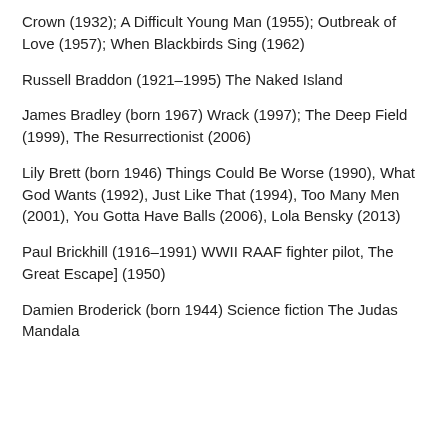Crown (1932); A Difficult Young Man (1955); Outbreak of Love (1957); When Blackbirds Sing (1962)
Russell Braddon (1921–1995) The Naked Island
James Bradley (born 1967) Wrack (1997); The Deep Field (1999), The Resurrectionist (2006)
Lily Brett (born 1946) Things Could Be Worse (1990), What God Wants (1992), Just Like That (1994), Too Many Men (2001), You Gotta Have Balls (2006), Lola Bensky (2013)
Paul Brickhill (1916–1991) WWII RAAF fighter pilot, The Great Escape] (1950)
Damien Broderick (born 1944) Science fiction The Judas Mandala